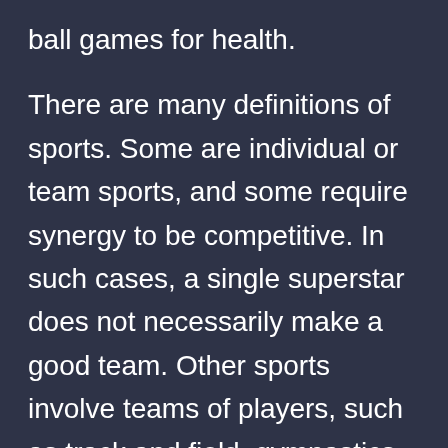ball games for health.
There are many definitions of sports. Some are individual or team sports, and some require synergy to be competitive. In such cases, a single superstar does not necessarily make a good team. Other sports involve teams of players, such as track and field, gymnastics, wrestling, and swimming relays. There are countless other types of sports that require teamwork and cooperation. So, what is the difference between sports and individual games? What are the benefits of playing sports for fun?